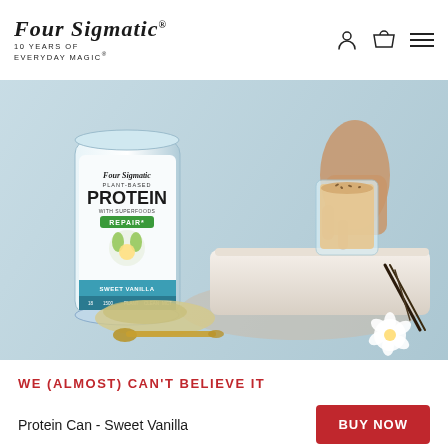[Figure (logo): Four Sigmatic logo with text '10 YEARS OF EVERYDAY MAGIC' and nav icons]
[Figure (photo): Product photo showing Four Sigmatic Plant-Based Protein Sweet Vanilla canister, a glass of vanilla protein shake held by a hand, a pile of protein powder with a gold spoon, vanilla pods and flower on a stone slab, light blue background.]
WE (ALMOST) CAN'T BELIEVE IT
Protein Can - Sweet Vanilla
BUY NOW